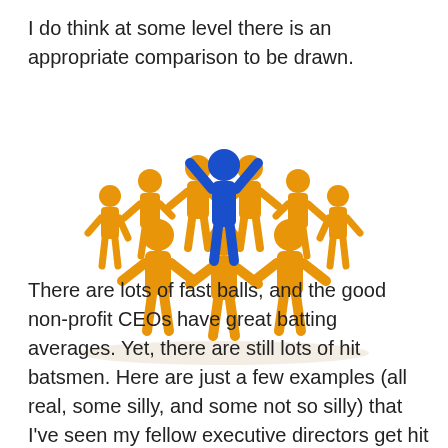I do think at some level there is an appropriate comparison to be drawn.
[Figure (illustration): A group of orange 3D figurines standing in a circle holding hands, with one blue figurine in the center raising both arms up in celebration or leadership pose.]
There are lots of fast balls, and the good non-profit CEOs have great batting averages. Yet, there are still lots of hit batsmen. Here are just a few examples (all real, some silly, and some not so silly) that I've seen my fellow executive directors get hit with throughout the years: